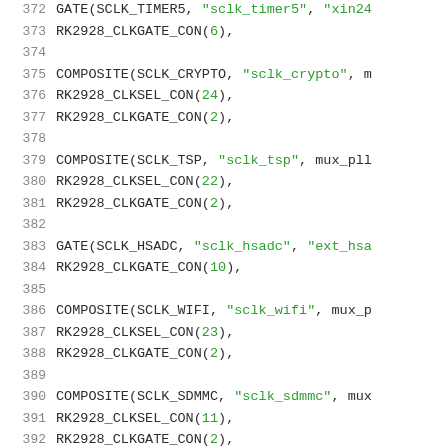372   GATE(SCLK_TIMER5, "sclk_timer5", "xin24...
373       RK2928_CLKGATE_CON(6),
374
375   COMPOSITE(SCLK_CRYPTO, "sclk_crypto", m...
376       RK2928_CLKSEL_CON(24),
377       RK2928_CLKGATE_CON(2),
378
379   COMPOSITE(SCLK_TSP, "sclk_tsp", mux_pll...
380       RK2928_CLKSEL_CON(22),
381       RK2928_CLKGATE_CON(2),
382
383   GATE(SCLK_HSADC, "sclk_hsadc", "ext_hsa...
384       RK2928_CLKGATE_CON(10),
385
386   COMPOSITE(SCLK_WIFI, "sclk_wifi", mux_p...
387       RK2928_CLKSEL_CON(23),
388       RK2928_CLKGATE_CON(2),
389
390   COMPOSITE(SCLK_SDMMC, "sclk_sdmmc", mux...
391       RK2928_CLKSEL_CON(11),
392       RK2928_CLKGATE_CON(2),
393   ...